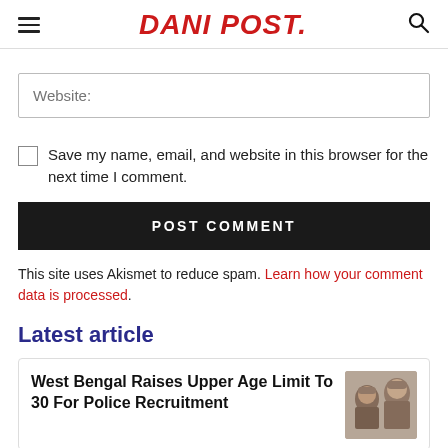DANI POST.
Website:
Save my name, email, and website in this browser for the next time I comment.
POST COMMENT
This site uses Akismet to reduce spam. Learn how your comment data is processed.
Latest article
West Bengal Raises Upper Age Limit To 30 For Police Recruitment